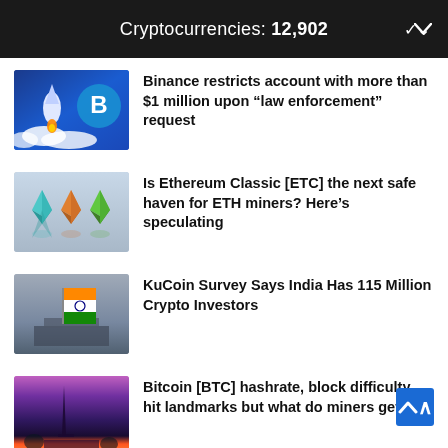Cryptocurrencies: 12,902
Binance restricts account with more than $1 million upon “law enforcement” request
Is Ethereum Classic [ETC] the next safe haven for ETH miners? Here’s speculating
KuCoin Survey Says India Has 115 Million Crypto Investors
Bitcoin [BTC] hashrate, block difficulty, hit landmarks but what do miners get?
Leave a Reply
Your email address will not be published. Required fields